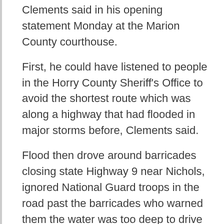Clements said in his opening statement Monday at the Marion County courthouse.
First, he could have listened to people in the Horry County Sheriff's Office to avoid the shortest route which was along a highway that had flooded in major storms before, Clements said.
Flood then drove around barricades closing state Highway 9 near Nichols, ignored National Guard troops in the road past the barricades who warned them the water was too deep to drive through and drove his police transport van into water covering the highway near the Little Pee Dee River bridge, the prosecutor said.
Clements told jurors they would see drone